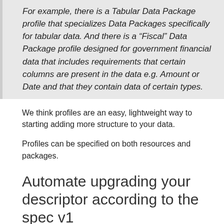For example, there is a Tabular Data Package profile that specializes Data Packages specifically for tabular data. And there is a “Fiscal” Data Package profile designed for government financial data that includes requirements that certain columns are present in the data e.g. Amount or Date and that they contain data of certain types.
We think profiles are an easy, lightweight way to starting adding more structure to your data.
Profiles can be specified on both resources and packages.
Automate upgrading your descriptor according to the spec v1
We have created a data package normalization script that you can use to automate the process of upgrading a datapackage.json or Table Schema from pre-v1 to v1.
The script enables you to automate updating your